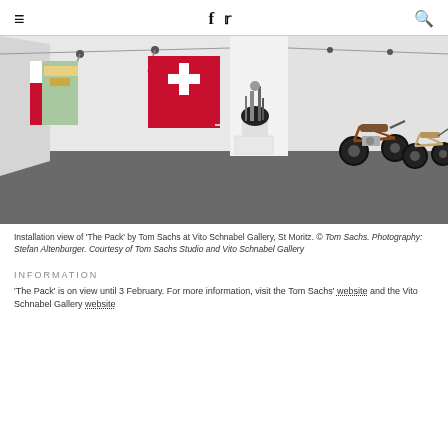≡  f  🐦  🔍
[Figure (photo): Installation view of 'The Pack' by Tom Sachs at Vito Schnabel Gallery, St Moritz. Interior gallery space with a large red canvas featuring a white cross (Swiss flag), a colorful map painting, a mechanical sculpture on a white plinth, and two motorcycle sculptures on a dark gray floor.]
Installation view of 'The Pack' by Tom Sachs at Vito Schnabel Gallery, St Moritz. © Tom Sachs. Photography: Stefan Altenburger. Courtesy of Tom Sachs Studio and Vito Schnabel Gallery
INFORMATION
'The Pack' is on view until 3 February. For more information, visit the Tom Sachs' website and the Vito Schnabel Gallery website